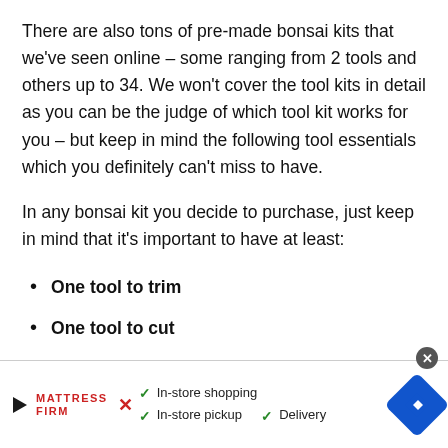There are also tons of pre-made bonsai kits that we've seen online – some ranging from 2 tools and others up to 34. We won't cover the tool kits in detail as you can be the judge of which tool kit works for you – but keep in mind the following tool essentials which you definitely can't miss to have.
In any bonsai kit you decide to purchase, just keep in mind that it's important to have at least:
One tool to trim
One tool to cut
[Figure (other): Advertisement banner for Mattress Firm showing In-store shopping, In-store pickup, and Delivery options with checkmarks and navigation arrow icon]